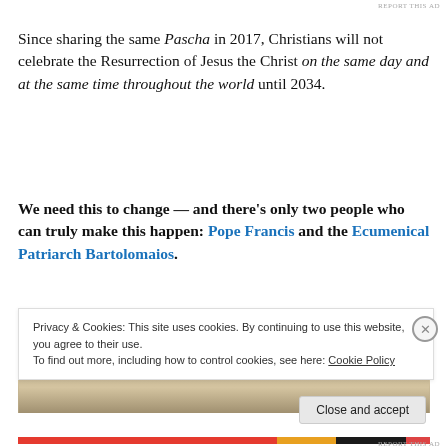REPORT THIS AD
Since sharing the same Pascha in 2017, Christians will not celebrate the Resurrection of Jesus the Christ on the same day and at the same time throughout the world until 2034.
We need this to change — and there's only two people who can truly make this happen: Pope Francis and the Ecumenical Patriarch Bartolomaios.
[Figure (photo): Interior of a historic church or cathedral with ornate ceiling and architectural details]
Privacy & Cookies: This site uses cookies. By continuing to use this website, you agree to their use.
To find out more, including how to control cookies, see here: Cookie Policy
REPORT THIS AD